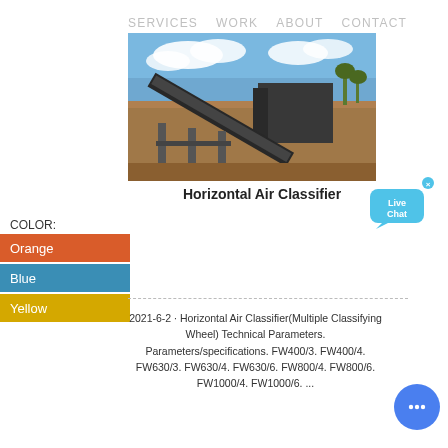SERVICES   WORK   ABOUT   CONTACT
[Figure (photo): Industrial mining/crushing plant with conveyor belts and heavy machinery on a construction site, blue sky with clouds in background.]
Horizontal Air Classifier
COLOR:
Orange
Blue
Yellow
2021-6-2 · Horizontal Air Classifier(Multiple Classifying Wheel) Technical Parameters. Parameters/specifications. FW400/3. FW400/4. FW630/3. FW630/4. FW630/6. FW800/4. FW800/6. FW1000/4. FW1000/6. ...